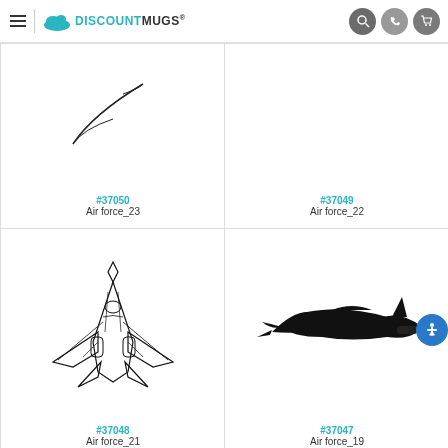DiscountMugs
[Figure (illustration): Partial view of Air force_23 clip art, mostly cropped out at top]
#37050
Air force_23
[Figure (illustration): Empty card area for Air force_22 - image not visible]
#37049
Air force_22
[Figure (illustration): Line art illustration of a fighter jet (Air force_21) viewed from above at an angle]
#37048
Air force_21
[Figure (illustration): Black silhouette of a military aircraft (Air force_19) viewed from top/side]
#37047
Air force_19
[Figure (illustration): Partial view of additional air force clip art at bottom, mostly cropped]
[Figure (illustration): Partial view of additional air force clip art at bottom right, mostly cropped]